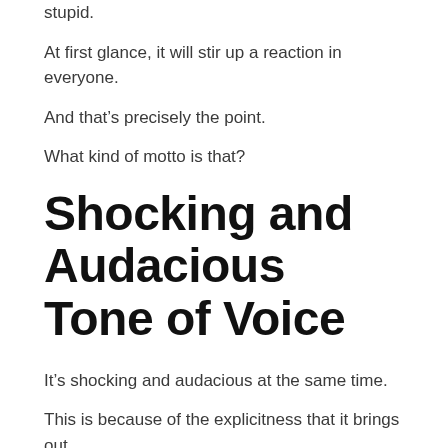stupid.
At first glance, it will stir up a reaction in everyone.
And that’s precisely the point.
What kind of motto is that?
Shocking and Audacious Tone of Voice
It’s shocking and audacious at the same time.
This is because of the explicitness that it brings out.